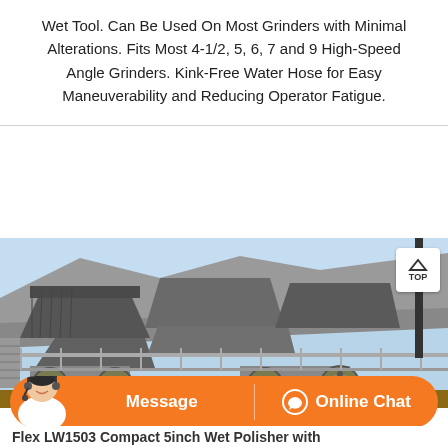Wet Tool. Can Be Used On Most Grinders with Minimal Alterations. Fits Most 4-1/2, 5, 6, 7 and 9 High-Speed Angle Grinders. Kink-Free Water Hose for Easy Maneuverability and Reducing Operator Fatigue.
[Figure (photo): Industrial machinery at a mining or quarrying site showing large jaw crushers and conveyor equipment with rocky terrain in the background under a clear sky.]
Flex LW1503 Compact 5inch Wet Polisher with